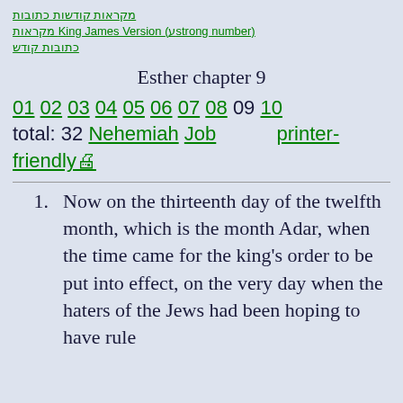מקראות קודשות כתובות | מקראות King James Version (עstrong number) כתובות קודש
Esther chapter 9
01 02 03 04 05 06 07 08 09 10 total: 32 Nehemiah Job printer-friendly🖨
1. Now on the thirteenth day of the twelfth month, which is the month Adar, when the time came for the king's order to be put into effect, on the very day when the haters of the Jews had been hoping to have rule